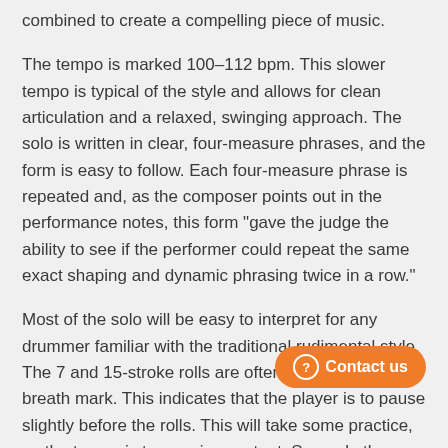combined to create a compelling piece of music.
The tempo is marked 100–112 bpm. This slower tempo is typical of the style and allows for clean articulation and a relaxed, swinging approach. The solo is written in clear, four-measure phrases, and the form is easy to follow. Each four-measure phrase is repeated and, as the composer points out in the performance notes, this form "gave the judge the ability to see if the performer could repeat the same exact shaping and dynamic phrasing twice in a row."
Most of the solo will be easy to interpret for any drummer familiar with the traditional rudimental style. The 7 and 15-stroke rolls are often preceded by a breath mark. This indicates that the player is to pause slightly before the rolls. This will take some practice, as the tempo is to remain constant. Several other interpretive directions are given in the performance notes and must be followed to play the solo with the correct style.